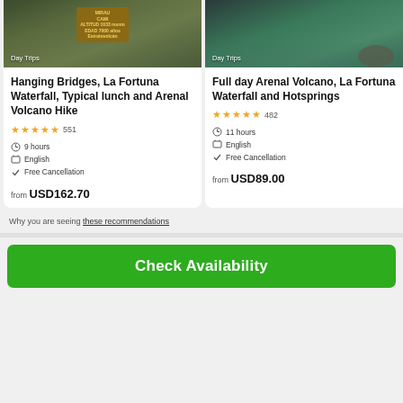[Figure (photo): Photo of hiking trail with altitude sign showing 'ALTITUD 1633 msnm EDAD 7000 años Estratovolcán', mountain forest background. Badge: Day Trips]
Hanging Bridges, La Fortuna Waterfall, Typical lunch and Arenal Volcano Hike
★★★★★ 551
9 hours
English
Free Cancellation
from USD162.70
[Figure (photo): Aerial photo of rocky river/waterfall with lush green surroundings. Badge: Day Trips]
Full day Arenal Volcano, La Fortuna Waterfall and Hotsprings
★★★★★ 482
11 hours
English
Free Cancellation
from USD89.00
Why you are seeing these recommendations
Check Availability